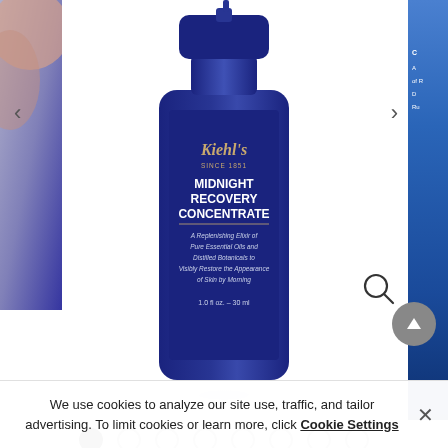[Figure (photo): Kiehl's Midnight Recovery Concentrate bottle (dark blue) centered in product carousel. Partial images visible on left and right edges. Navigation arrows shown. Magnifying glass icon at lower right.]
• • • • • • • • (carousel dots, first active)
$52.00
($1.73 / ml)
or 4 installments of $13.00 by afterpay Learn more
SELECT A SIZE
We use cookies to analyze our site use, traffic, and tailor advertising. To limit cookies or learn more, click Cookie Settings